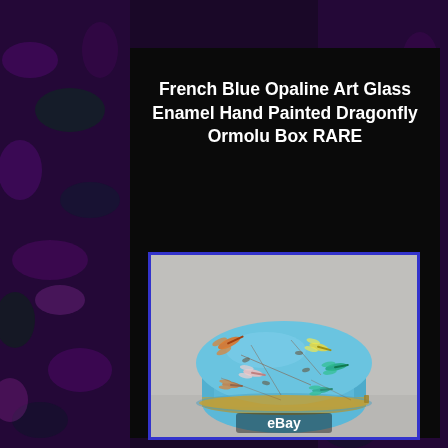French Blue Opaline Art Glass Enamel Hand Painted Dragonfly Ormolu Box RARE
[Figure (photo): A round French blue opaline art glass box with enamel hand-painted dragonflies and floral motifs on the lid and body, with ormolu (gilt metal) trim around the rim. The box sits on a light grey surface. An eBay watermark is visible at the bottom of the image.]